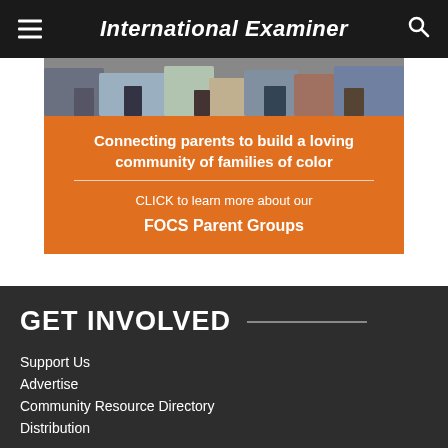International Examiner
[Figure (photo): Top portion of a banner advertisement showing people's lower bodies/feet, partially cropped.]
[Figure (infographic): Orange advertisement banner reading: 'Connecting parents to build a loving community of families of color' and 'CLICK to learn more about our FOCS Parent Groups']
GET INVOLVED
Support Us
Advertise
Community Resource Directory
Distribution